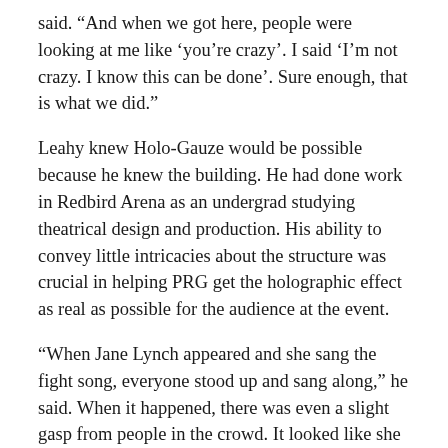said. “And when we got here, people were looking at me like ‘you’re crazy’. I said ‘I’m not crazy. I know this can be done’. Sure enough, that is what we did.”
Leahy knew Holo-Gauze would be possible because he knew the building. He had done work in Redbird Arena as an undergrad studying theatrical design and production. His ability to convey little intricacies about the structure was crucial in helping PRG get the holographic effect as real as possible for the audience at the event.
“When Jane Lynch appeared and she sang the fight song, everyone stood up and sang along,” he said. When it happened, there was even a slight gasp from people in the crowd. It looked like she was standing on stage even though she really wasn’t.”
For Leahy, those reactions from the attendees and the response from campus leaders made this job